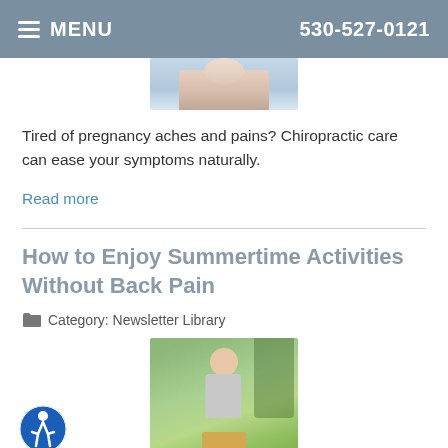MENU | 530-527-0121
[Figure (photo): Partial image of a woman receiving chiropractic care, visible from shoulders up]
Tired of pregnancy aches and pains? Chiropractic care can ease your symptoms naturally.
Read more
How to Enjoy Summertime Activities Without Back Pain
Category: Newsletter Library
[Figure (photo): Woman bending over in a garden picking up a box of produce, surrounded by trees]